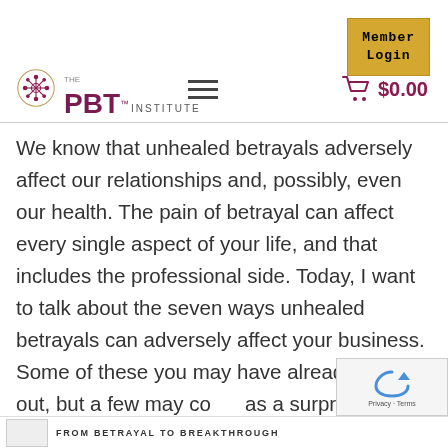Member Login
[Figure (logo): The PBT Institute logo with decorative circular emblem, hamburger menu icon, and shopping cart showing $0.00]
We know that unhealed betrayals adversely affect our relationships and, possibly, even our health. The pain of betrayal can affect every single aspect of your life, and that includes the professional side. Today, I want to talk about the seven ways unhealed betrayals can adversely affect your business. Some of these you may have already figured out, but a few may come as a surprise.
FROM BETRAYAL TO BREAKTHROUGH